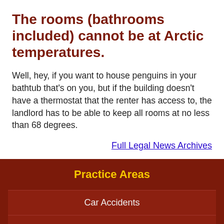The rooms (bathrooms included) cannot be at Arctic temperatures.
Well, hey, if you want to house penguins in your bathtub that's on you, but if the building doesn't have a thermostat that the renter has access to, the landlord has to be able to keep all rooms at no less than 68 degrees.
Full Legal News Archives
Practice Areas
Car Accidents
Contract & Business Law